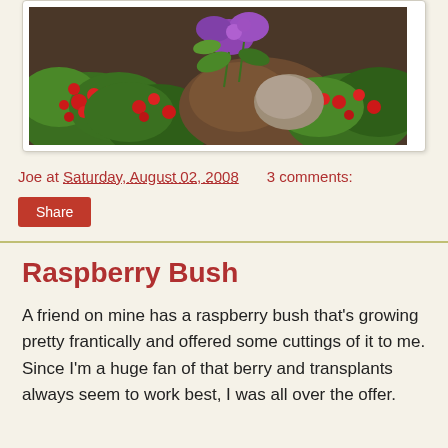[Figure (photo): Garden photo showing red flowers, green foliage, and purple flowers against dark soil background]
Joe at Saturday, August 02, 2008    3 comments:
Share
Raspberry Bush
A friend on mine has a raspberry bush that's growing pretty frantically and offered some cuttings of it to me. Since I'm a huge fan of that berry and transplants always seem to work best, I was all over the offer.
I chose this location in my yard since it was readily close to an existing irrigation system and had lots of sun.